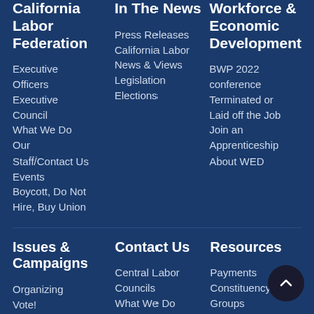California Labor Federation
Executive Officers
Executive Council
What We Do
Our Staff/Contact Us
Events
Boycott, Do Not Hire, Buy Union
In The News
Press Releases
California Labor News & Views
Legislation
Elections
Workforce & Economic Development
BWP 2022 conference
Terminated or Laid off the Job
Join an Apprenticeship
About WED
Issues & Campaigns
Organizing
Vote!
Endorsements
Contact Us
Central Labor Councils
What We Do
Our Staff
Resources
Payments
Constituency Groups
Publications